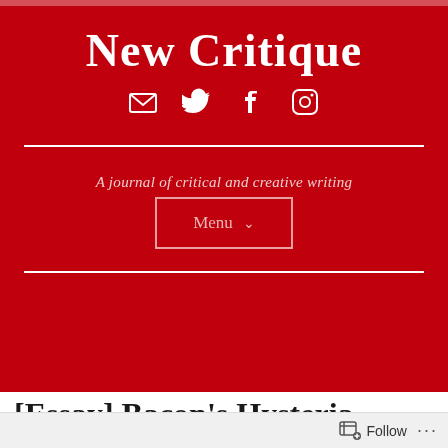New Critique
[Figure (infographic): Social media icons: email, Twitter, Facebook, Instagram]
A journal of critical and creative writing
[Figure (other): Menu navigation button with chevron]
[Essay] Bacon's Hysteria, van Gogh's Shoes: Deleuze
Follow